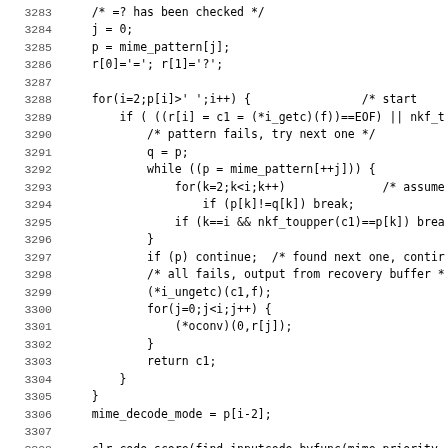[Figure (screenshot): Source code listing showing lines 3283-3314 of a C program dealing with MIME pattern matching and decoding, with line numbers on the left and code on the right in monospace font.]